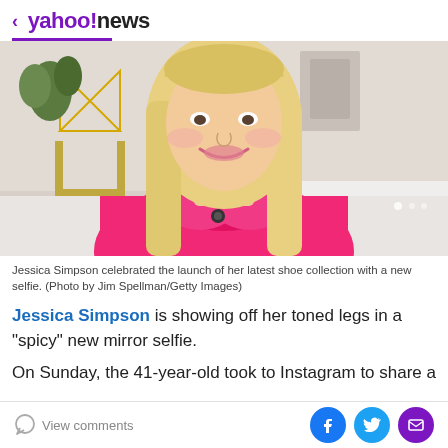< yahoo!news
[Figure (photo): Close-up photo of a blonde woman wearing a bright pink blouse with a lapel microphone, smiling, with a blurred interior background]
Jessica Simpson celebrated the launch of her latest shoe collection with a new selfie. (Photo by Jim Spellman/Getty Images)
Jessica Simpson is showing off her toned legs in a "spicy" new mirror selfie.
On Sunday, the 41-year-old took to Instagram to share a
View comments